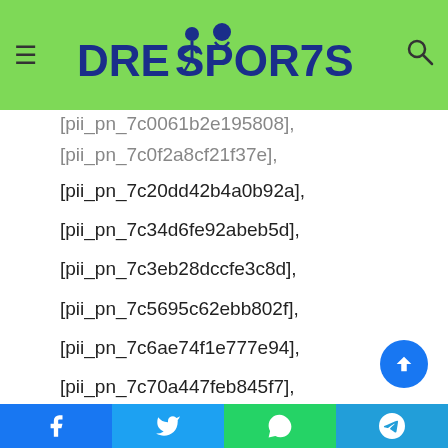DREKSPORTS (website navigation header with logo)
[pii_pn_7c0061b2e195808],
[pii_pn_7c0f2a8cf21f37e],
[pii_pn_7c20dd42b4a0b92a],
[pii_pn_7c34d6fe92abeb5d],
[pii_pn_7c3eb28dccfe3c8d],
[pii_pn_7c5695c62ebb802f],
[pii_pn_7c6ae74f1e777e94],
[pii_pn_7c70a447feb845f7],
[pii_pn_7c771884cb5de05b],
[pii_pn_7cb1dd394ad14a35],
[pii_pn_7cb487117f21abdb],
[pii_pn_7cb5b67fe7db4ef9],
[pii_pn_7cc31f9811ff1660],
[pii_pn_7ce1e4ea0735e14d],
[pii_pn_7ce688d9c37ebdf8],